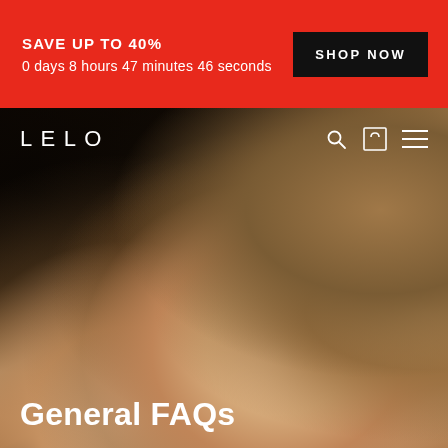SAVE UP TO 40% | 0 days 8 hours 47 minutes 46 seconds | SHOP NOW
[Figure (photo): Close-up photo of a woman lying down with eyes closed, skin glowing in warm sunlight, woven hat visible in background. LELO brand website header with navigation bar overlay showing logo, search, cart, and menu icons.]
General FAQs